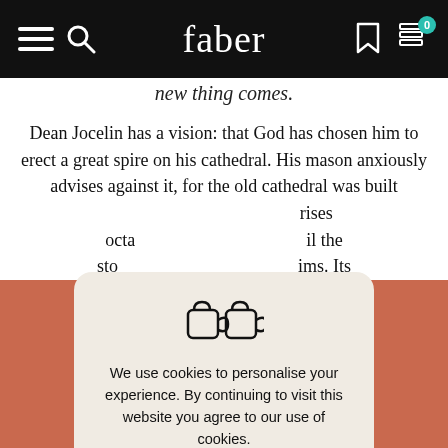faber
new thing comes.
Dean Jocelin has a vision: that God has chosen him to erect a great spire on his cathedral. His mason anxiously advises against it, for the old cathedral was built rises octa il the sto ims. Its sh d on
[Figure (screenshot): Cookie consent modal dialog with cookie illustration icon, message text, 'Got It' teal button, and 'Read Our Cookie Policy' link]
We use cookies to personalise your experience. By continuing to visit this website you agree to our use of cookies.
Got It
Read Our Cookie Policy